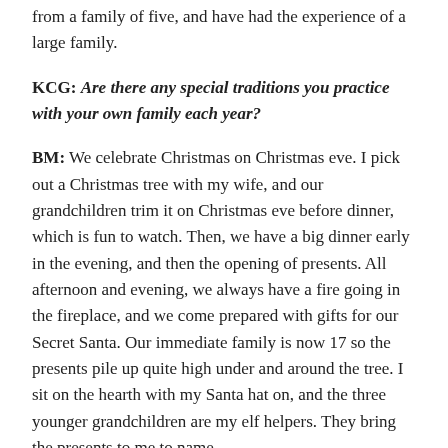from a family of five, and have had the experience of a large family.
KCG: Are there any special traditions you practice with your own family each year?
BM: We celebrate Christmas on Christmas eve. I pick out a Christmas tree with my wife, and our grandchildren trim it on Christmas eve before dinner, which is fun to watch. Then, we have a big dinner early in the evening, and then the opening of presents. All afternoon and evening, we always have a fire going in the fireplace, and we come prepared with gifts for our Secret Santa. Our immediate family is now 17 so the presents pile up quite high under and around the tree. I sit on the hearth with my Santa hat on, and the three younger grandchildren are my elf helpers. They bring the presents to me to name